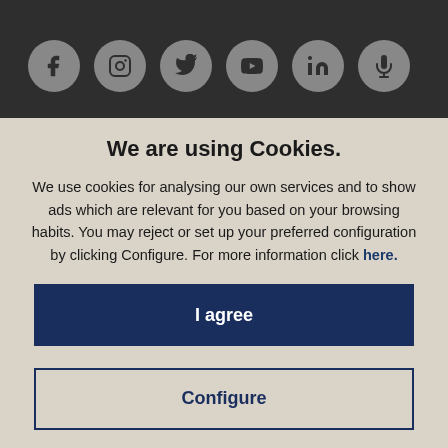[Figure (screenshot): Dark top bar with six social media icon circles: Facebook, Instagram, Twitter, YouTube, LinkedIn, and microphone/podcast icon]
We are using Cookies.
We use cookies for analysing our own services and to show ads which are relevant for you based on your browsing habits. You may reject or set up your preferred configuration by clicking Configure. For more information click here.
I agree
Configure